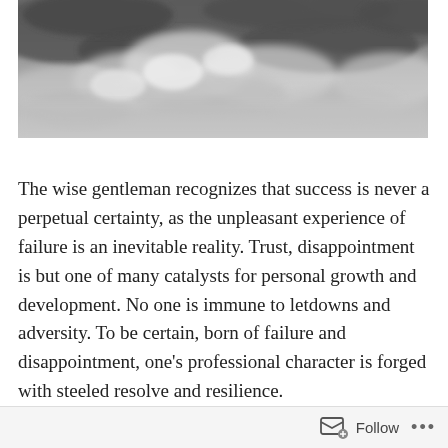[Figure (photo): Black and white photograph of dramatic cloudy sky with dark storm clouds and lighter cloud formations]
The wise gentleman recognizes that success is never a perpetual certainty, as the unpleasant experience of failure is an inevitable reality. Trust, disappointment is but one of many catalysts for personal growth and development. No one is immune to letdowns and adversity. To be certain, born of failure and disappointment, one's professional character is forged with steeled resolve and resilience.
Follow ···